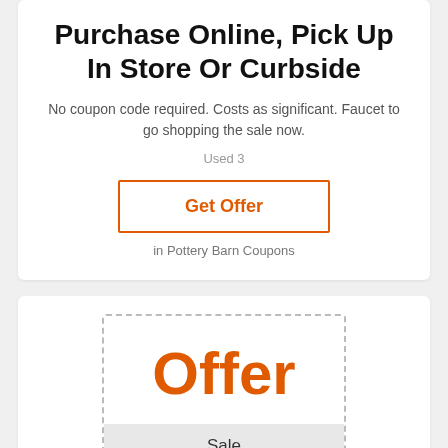Purchase Online, Pick Up In Store Or Curbside
No coupon code required. Costs as significant. Faucet to go shopping the sale now.
Used 3
Get Offer
in Pottery Barn Coupons
[Figure (other): Offer badge with dashed border showing 'Offer' in large orange text and 'Sale' label below]
Free Delivery on Bath tub Add-ons